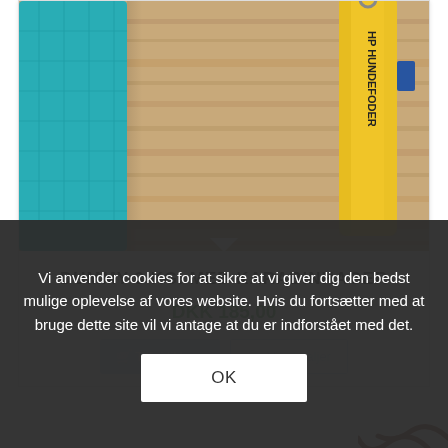[Figure (photo): Product photo showing a teal/cyan colored dummy bag and a yellow tube-shaped dummy with 'HP HUNDEFODER' text, laid on a wooden surface]
DUMMY 3 KG. MED KARABINHAGER
DKK 185,00
Vi anvender cookies for at sikre at vi giver dig den bedst mulige oplevelse af vores website. Hvis du fortsætter med at bruge dette site vil vi antage at du er indforstået med det.